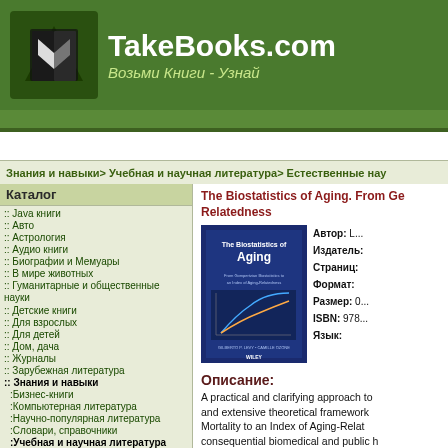TakeBooks.com — Возьми Книги - Узнай
Знания и навыки> Учебная и научная литература> Естественные нау
Каталог
:: Java книги
:: Авто
:: Астрология
:: Аудио книги
:: Биографии и Мемуары
:: В мире животных
:: Гуманитарные и общественные науки
:: Детские книги
:: Для взрослых
:: Для детей
:: Дом, дача
:: Журналы
:: Зарубежная литература
:: Знания и навыки
:Бизнес-книги
:Компьютерная литература
:Научно-популярная литература
:Словари, справочники
:Учебная и научная литература
:Безопасность жизнедеятельности
:Военное дело
:Гуманитарные и общественные науки
The Biostatistics of Aging. From Gompertz to Bioluminescence of Aging-Relatedness
[Figure (photo): Book cover of The Biostatistics of Aging published by Wiley]
Автор: L...
Издатель:...
Страниц:...
Формат:
Размер: 0...
ISBN: 978...
Язык:
Описание:
A practical and clarifying approach to and extensive theoretical framework Mortality to an Index of Aging-Relat consequential biomedical and public h